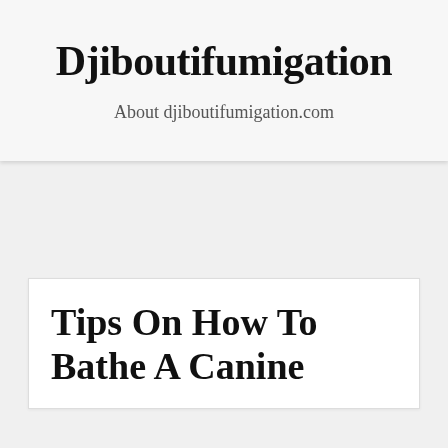Djiboutifumigation
About djiboutifumigation.com
Tips On How To Bathe A Canine